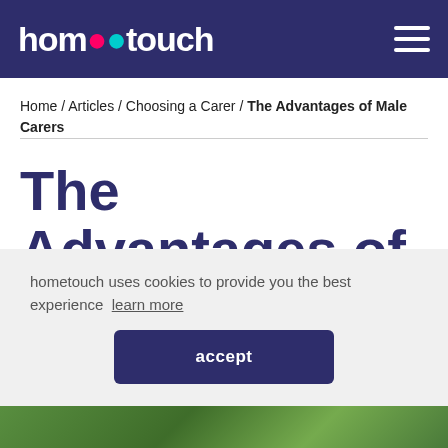hometouch
Home / Articles / Choosing a Carer / The Advantages of Male Carers
The Advantages of Male Carers
hometouch uses cookies to provide you the best experience  learn more
accept